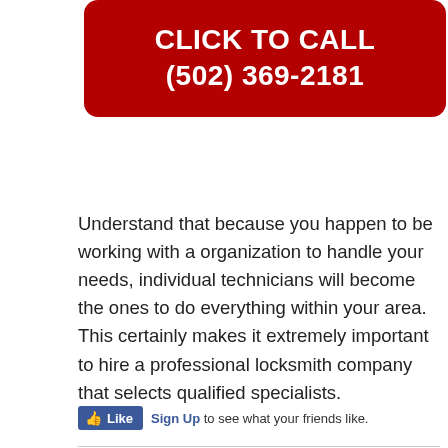[Figure (other): Red rounded-rectangle button with white bold text reading CLICK TO CALL (502) 369-2181]
Understand that because you happen to be working with a organization to handle your needs, individual technicians will become the ones to do everything within your area. This certainly makes it extremely important to hire a professional locksmith company that selects qualified specialists.
[Figure (other): Facebook Like button widget showing thumbs up Like button and Sign Up link with text to see what your friends like.]
Filed Under: 24/7 Locksmith, Door Lock Installation, Door Lock Problems, Door Locks Installation, Find a Locksmith, Garage Door Lock Repair, Garage Locksmith, getting into locked house, High Security Lock Installation, High Security Lock Repair, Home